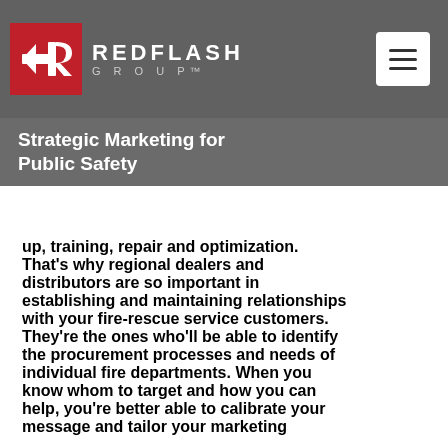REDFLASH GROUP — Strategic Marketing for Public Safety
up, training, repair and optimization. That's why regional dealers and distributors are so important in establishing and maintaining relationships with your fire-rescue service customers. They're the ones who'll be able to identify the procurement processes and needs of individual fire departments. When you know whom to target and how you can help, you're better able to calibrate your message and tailor your marketing